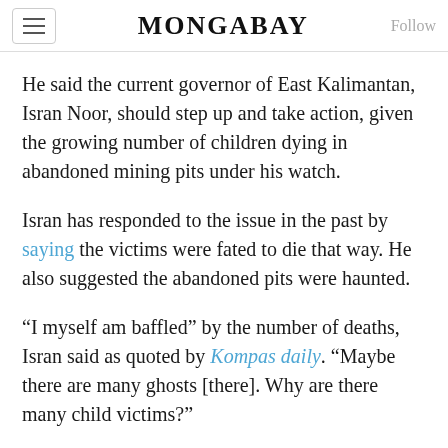MONGABAY
He said the current governor of East Kalimantan, Isran Noor, should step up and take action, given the growing number of children dying in abandoned mining pits under his watch.
Isran has responded to the issue in the past by saying the victims were fated to die that way. He also suggested the abandoned pits were haunted.
“I myself am baffled” by the number of deaths, Isran said as quoted by Kompas daily. “Maybe there are many ghosts [there]. Why are there many child victims?”